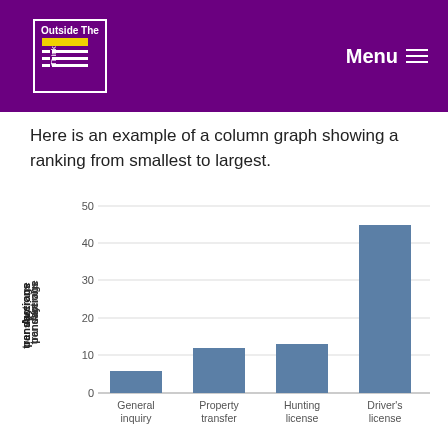Think Outside The Slide — Menu
Here is an example of a column graph showing a ranking from smallest to largest.
[Figure (bar-chart): ]